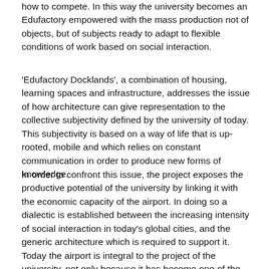how to compete. In this way the university becomes an Edufactory empowered with the mass production not of objects, but of subjects ready to adapt to flexible conditions of work based on social interaction.
'Edufactory Docklands', a combination of housing, learning spaces and infrastructure, addresses the issue of how architecture can give representation to the collective subjectivity defined by the university of today. This subjectivity is based on a way of life that is up-rooted, mobile and which relies on constant communication in order to produce new forms of knowledge.
In order to confront this issue, the project exposes the productive potential of the university by linking it with the economic capacity of the airport. In doing so a dialectic is established between the increasing intensity of social interaction in today's global cities, and the generic architecture which is required to support it. Today the airport is integral to the project of the university, not only because it has become one of the most strategic pieces of a cities infrastructure, but also because it can be understood as paradigmatic of this existential condition